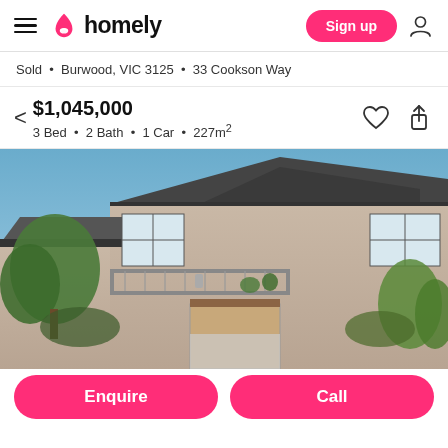homely — Sign up
Sold • Burwood, VIC 3125 • 33 Cookson Way
$1,045,000
3 Bed • 2 Bath • 1 Car • 227m²
[Figure (photo): Exterior photo of a two-storey residential house with grey roof tiles, rendered walls, large windows, balcony with railing, trees and shrubs in front, blue sky background.]
Enquire    Call